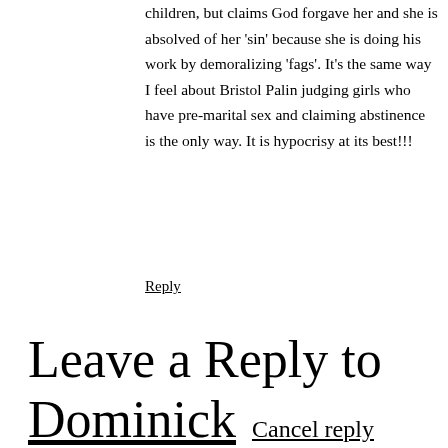children, but claims God forgave her and she is absolved of her 'sin' because she is doing his work by demoralizing 'fags'. It's the same way I feel about Bristol Palin judging girls who have pre-marital sex and claiming abstinence is the only way. It is hypocrisy at its best!!!
Reply
Leave a Reply to Dominick Cancel reply